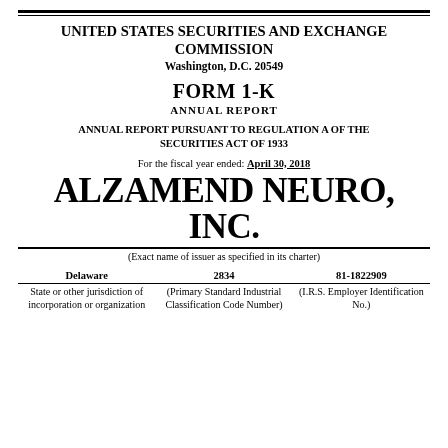UNITED STATES SECURITIES AND EXCHANGE COMMISSION
Washington, D.C. 20549
FORM 1-K
ANNUAL REPORT
ANNUAL REPORT PURSUANT TO REGULATION A OF THE SECURITIES ACT OF 1933
For the fiscal year ended: April 30, 2018
ALZAMEND NEURO, INC.
(Exact name of issuer as specified in its charter)
| Delaware | 2834 | 81-1822909 |
| --- | --- | --- |
| State or other jurisdiction of incorporation or organization | (Primary Standard Industrial Classification Code Number) | (I.R.S. Employer Identification No.) |